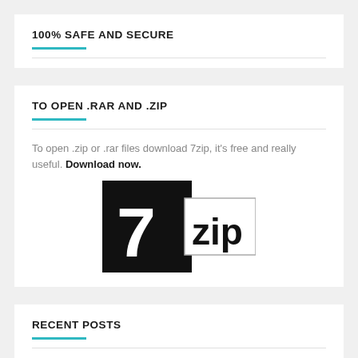100% SAFE AND SECURE
TO OPEN .RAR AND .ZIP
To open .zip or .rar files download 7zip, it's free and really useful. Download now.
[Figure (logo): 7-zip logo: black square with large white '7' on left, white rectangle with black 'zip' text on right]
RECENT POSTS